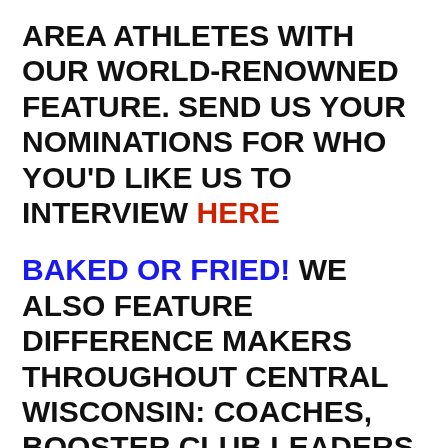AREA ATHLETES WITH OUR WORLD-RENOWNED FEATURE. SEND US YOUR NOMINATIONS FOR WHO YOU'D LIKE US TO INTERVIEW HERE
BAKED OR FRIED! WE ALSO FEATURE DIFFERENCE MAKERS THROUGHOUT CENTRAL WISCONSIN: COACHES, BOOSTER CLUB LEADERS, ADMINSTRATION, VOLUNTEERS, YOU NAME IT. SEND US YOUR NOMINATIONS FOR WHO YOU'D LIKE US TO INTERVIEW HERE
COLLEGE ATHLETE ROUNDUP! WE WANT TO RECOGNIZE STUDENT-ATHLETES FROM THE AREA WHO ARE COMPETING AT THE